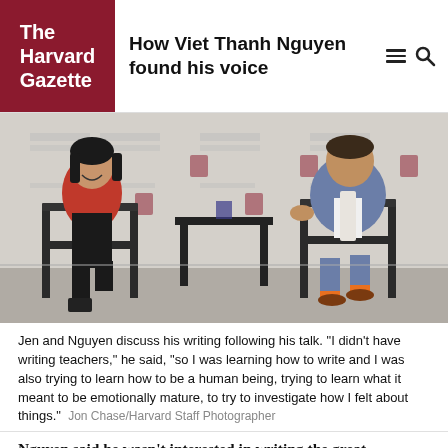The Harvard Gazette — How Viet Thanh Nguyen found his voice
[Figure (photo): Two people seated on stage chairs in front of a Harvard backdrop. A woman in a red blazer laughs while a man in a gray-blue suit gestures while speaking. A small table with flowers is between them.]
Jen and Nguyen discuss his writing following his talk. "I didn't have writing teachers," he said, "so I was learning how to write and I was also trying to learn how to be a human being, trying to learn what it meant to be emotionally mature, to try to investigate how I felt about things."  Jon Chase/Harvard Staff Photographer
Nguyen said he wasn't interested in writing the great